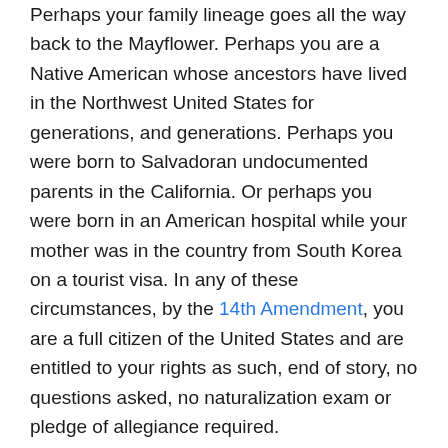Perhaps your family lineage goes all the way back to the Mayflower. Perhaps you are a Native American whose ancestors have lived in the Northwest United States for generations, and generations. Perhaps you were born to Salvadoran undocumented parents in the California. Or perhaps you were born in an American hospital while your mother was in the country from South Korea on a tourist visa. In any of these circumstances, by the 14th Amendment, you are a full citizen of the United States and are entitled to your rights as such, end of story, no questions asked, no naturalization exam or pledge of allegiance required.
The trouble is that, while the status of a child born to American citizens in the United States is taken for granted and considered a natural right by birthplace (as in the first two scenarios mentioned above), that of a child born to